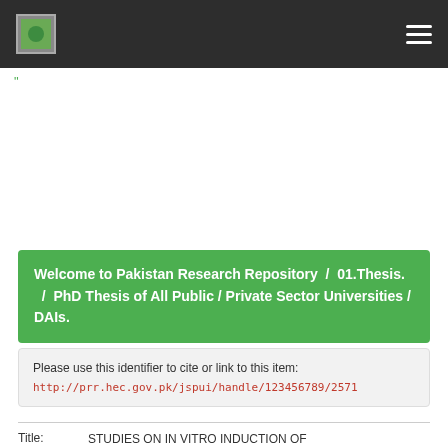Pakistan Research Repository navigation bar
"
Welcome to Pakistan Research Repository / 01.Thesis. / PhD Thesis of All Public / Private Sector Universities / DAIs.
Please use this identifier to cite or link to this item: http://prr.hec.gov.pk/jspui/handle/123456789/2571
Title: STUDIES ON IN VITRO INDUCTION OF MUTATIONS IN ROSA SPECIES THROUGH